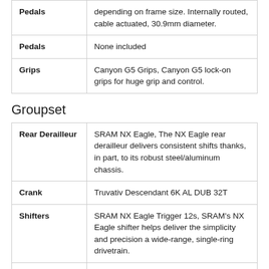| Component | Description |
| --- | --- |
| Pedals | None included |
| Grips | Canyon G5 Grips, Canyon G5 lock-on grips for huge grip and control. |
Groupset
| Component | Description |
| --- | --- |
| Rear Derailleur | SRAM NX Eagle, The NX Eagle rear derailleur delivers consistent shifts thanks, in part, to its robust steel/aluminum chassis. |
| Crank | Truvativ Descendant 6K AL DUB 32T |
| Shifters | SRAM NX Eagle Trigger 12s, SRAM's NX Eagle shifter helps deliver the simplicity and precision a wide-range, single-ring drivetrain. |
| Cassette | SRAM PG-1210 Eagle 11-50 12s, SRAM's SX Eagle 11-50 cassette packs a wide, 454% gear range into a surprisingly affordable package. |